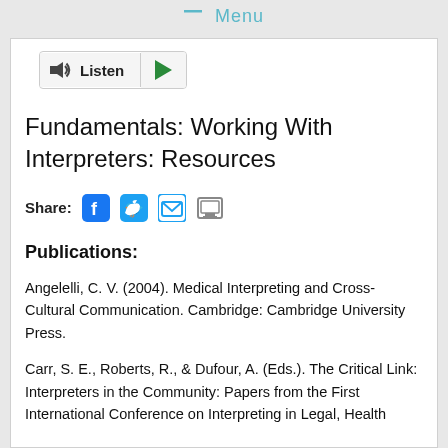Menu
[Figure (other): Listen button with speaker icon and green play button]
Fundamentals: Working With Interpreters: Resources
Share: [Facebook] [Twitter] [Email] [Print]
Publications:
Angelelli, C. V. (2004). Medical Interpreting and Cross-Cultural Communication. Cambridge: Cambridge University Press.
Carr, S. E., Roberts, R., & Dufour, A. (Eds.). The Critical Link: Interpreters in the Community: Papers from the First International Conference on Interpreting in Legal, Health